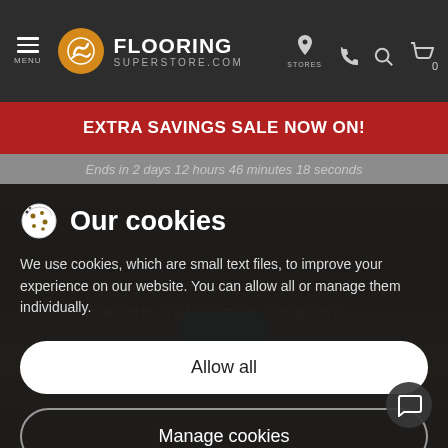[Figure (screenshot): FlooringSuperstore.com website header navigation bar with hamburger menu, logo, store locator, phone, search, and cart icons]
EXTRA SAVINGS SALE NOW ON!
Ends in 2 days 12 hours 46 minutes 18 seconds
Our cookies
We use cookies, which are small text files, to improve your experience on our website. You can allow all or manage them individually.
Allow all
Manage cookies
HAND SELECTED BOARDS
Sourced